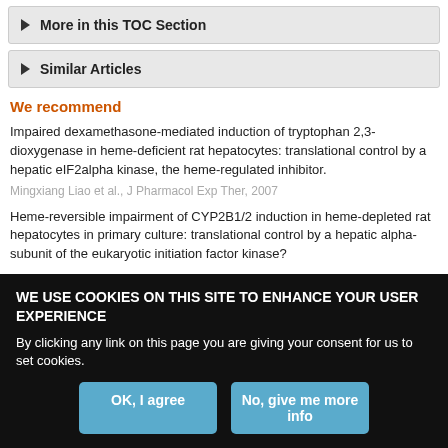More in this TOC Section
Similar Articles
We recommend
Impaired dexamethasone-mediated induction of tryptophan 2,3-dioxygenase in heme-deficient rat hepatocytes: translational control by a hepatic eIF2alpha kinase, the heme-regulated inhibitor.
Mingxiang Liao et al., J Pharmacol Exp Ther, 2007
Heme-reversible impairment of CYP2B1/2 induction in heme-depleted rat hepatocytes in primary culture: translational control by a hepatic alpha-subunit of the eukaryotic initiation factor kinase?
WE USE COOKIES ON THIS SITE TO ENHANCE YOUR USER EXPERIENCE
By clicking any link on this page you are giving your consent for us to set cookies.
OK, I agree
No, give me more info